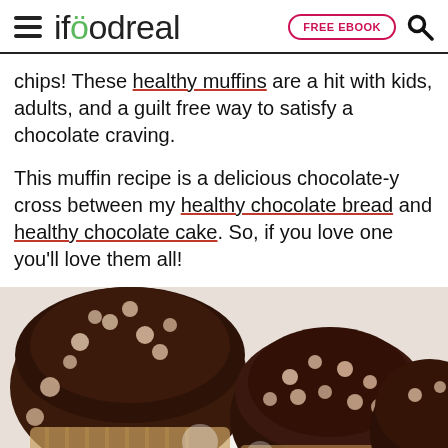ifoodreal | FREE EBOOK | [search]
chips! These healthy muffins are a hit with kids, adults, and a guilt free way to satisfy a chocolate craving.
This muffin recipe is a delicious chocolate-y cross between my healthy chocolate bread and healthy chocolate cake. So, if you love one you'll love them all!
[Figure (photo): Close-up photo of chocolate muffins topped with chocolate chips, slightly blurred/bokeh background, white surface.]